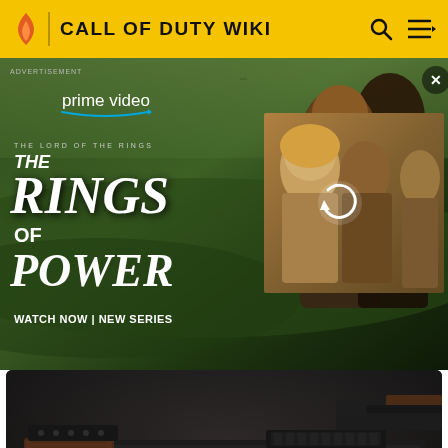CALL OF DUTY WIKI
[Figure (screenshot): Amazon Prime Video advertisement for 'The Lord of the Rings: The Rings of Power' showing two characters and text 'WATCH NOW | NEW SERIES']
[Figure (photo): Call of Duty weapon 'Volk' - an AK-style assault rifle with brown wood grain stock and large curved magazine, shown from above against dark background]
Volk (weapon)
Call of Duty Wiki
[Figure (photo): Partial view of another Call of Duty weapon at the bottom of the page]